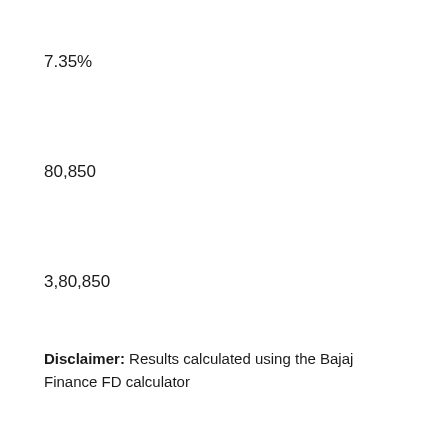7.35%
80,850
3,80,850
Disclaimer: Results calculated using the Bajaj Finance FD calculator